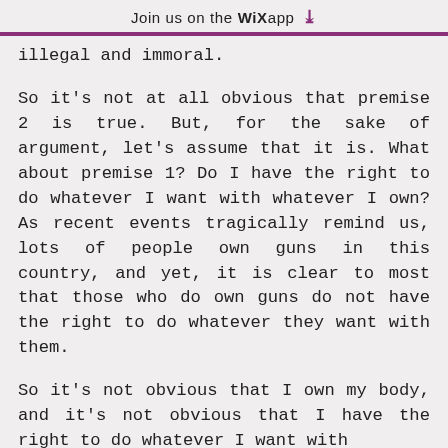Join us on the WiX app ↓
illegal and immoral.
So it's not at all obvious that premise 2 is true. But, for the sake of argument, let's assume that it is. What about premise 1? Do I have the right to do whatever I want with whatever I own? As recent events tragically remind us, lots of people own guns in this country, and yet, it is clear to most that those who do own guns do not have the right to do whatever they want with them.
So it's not obvious that I own my body, and it's not obvious that I have the right to do whatever I want with